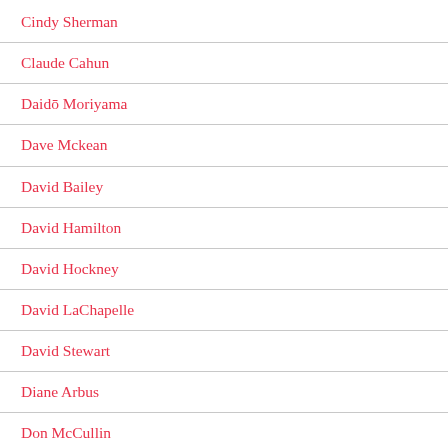Cindy Sherman
Claude Cahun
Daidō Moriyama
Dave Mckean
David Bailey
David Hamilton
David Hockney
David LaChapelle
David Stewart
Diane Arbus
Don McCullin